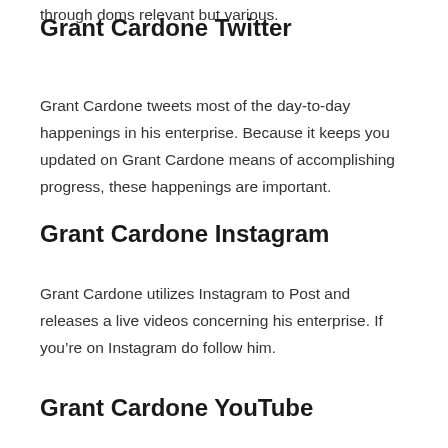through doms relevant but various.
Grant Cardone Twitter
Grant Cardone tweets most of the day-to-day happenings in his enterprise. Because it keeps you updated on Grant Cardone means of accomplishing progress, these happenings are important.
Grant Cardone Instagram
Grant Cardone utilizes Instagram to Post and releases a live videos concerning his enterprise. If you’re on Instagram do follow him.
Grant Cardone YouTube